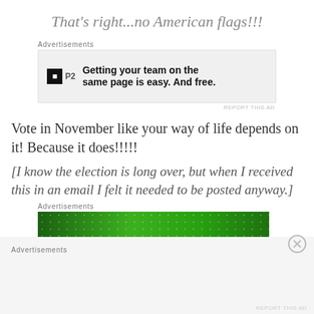That's right...no American flags!!!
[Figure (screenshot): Advertisement box with P2 logo and text: Getting your team on the same page is easy. And free.]
Vote in November like your way of life depends on it! Because it does!!!!!
[I know the election is long over, but when I received this in an email I felt it needed to be posted anyway.]
[Figure (screenshot): Green advertisement banner with dots pattern]
Advertisements